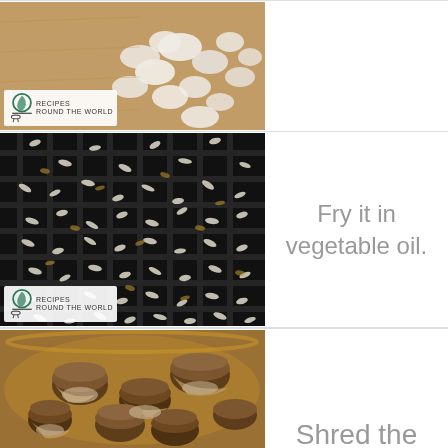[Figure (photo): Close-up photo of chopped onions on a wooden cutting board, with a Recipes Round the World watermark logo in the bottom-left corner]
[Figure (photo): Close-up photo of rice or grains frying in oil on a dark grill/pan, with a Recipes Round the World watermark logo in the bottom-left corner]
Fry it in vegetable oil.
[Figure (photo): Close-up photo of chopped mushrooms in a wooden bowl]
Shred the